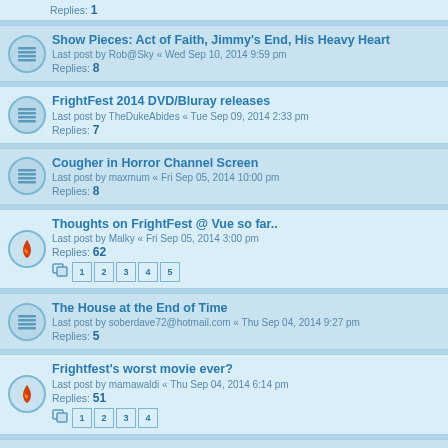Replies: 1
Show Pieces: Act of Faith, Jimmy's End, His Heavy Heart
Last post by Rob@Sky « Wed Sep 10, 2014 9:59 pm
Replies: 8
FrightFest 2014 DVD/Bluray releases
Last post by TheDukeAbides « Tue Sep 09, 2014 2:33 pm
Replies: 7
Cougher in Horror Channel Screen
Last post by maxmum « Fri Sep 05, 2014 10:00 pm
Replies: 8
Thoughts on FrightFest @ Vue so far..
Last post by Malky « Fri Sep 05, 2014 3:00 pm
Replies: 62
Pages: 1 2 3 4 5
The House at the End of Time
Last post by soberdave72@hotmail.com « Thu Sep 04, 2014 9:27 pm
Replies: 5
Frightfest's worst movie ever?
Last post by mamawaldi « Thu Sep 04, 2014 6:14 pm
Replies: 51
Pages: 1 2 3 4
Digging up the Marrow
Last post by sherbetbizarre « Thu Sep 04, 2014 4:26 pm
Replies: 6
The Last Showing
Last post by sherbetbizarre « Wed Sep 03, 2014 10:48 am
Replies: 7
Dead Snow 2
Last post by TheDukeAbides « Tue Sep 02, 2014 10:03 pm